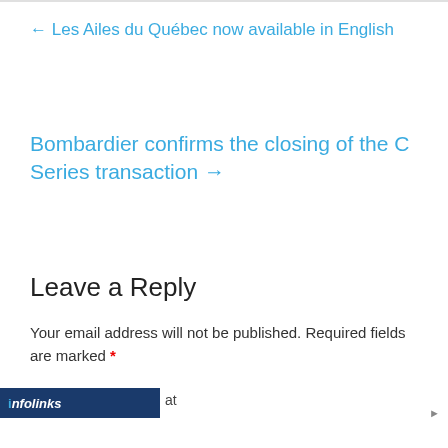← Les Ailes du Québec now available in English
Bombardier confirms the closing of the C Series transaction →
Leave a Reply
Your email address will not be published. Required fields are marked *
[Figure (other): Infolinks advertisement banner for Kohl's: Up to 60% off Clothing at Kohl's. Save up to 60% on clothing and homeware at Kohl's.com. kohls.com]